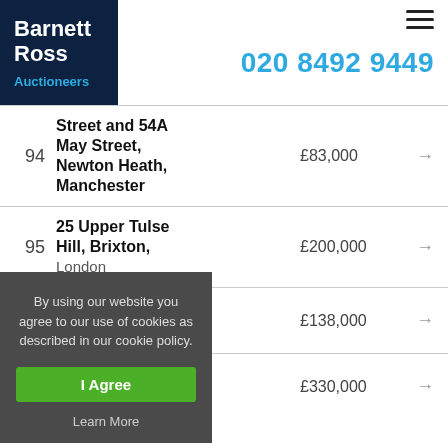Barnett Ross Auctioneers | 020 8492 9449
94  Street and 54A May Street, Newton Heath, Manchester  £83,000
95  25 Upper Tulse Hill, Brixton, London  £200,000
£138,000
£330,000
By using our website you agree to our use of cookies as described in our cookie policy.
I Agree
Learn More